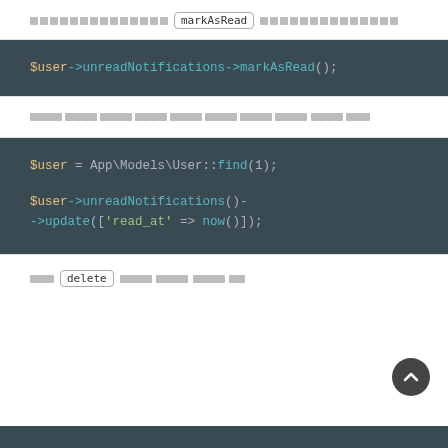░░░░░░░░░░░░░░ markAsRead ░░░░░░░░░░░░░░
[Figure (screenshot): Dark code block showing: $user->unreadNotifications->markAsRead();]
░░░░░░░░░░░░░░░░░░░░░░░░░░░░░░░░░░░░░░░
[Figure (screenshot): Dark code block showing: $user = App\Models\User::find(1); $user->unreadNotifications()->->update(['read_at' => now()]);]
░░░ delete ░░░░░░░░░░░░░░